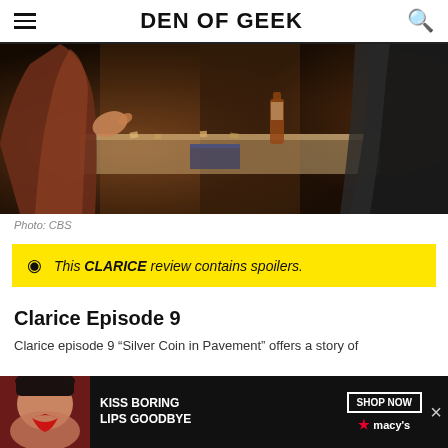DEN OF GEEK
[Figure (photo): Dark cinematic still image showing two figures at a counter or bar, one in a reddish-brown jacket, the other in dark clothing, with a bottle visible on the surface]
Photo: CBS
This CLARICE review contains spoilers.
Clarice Episode 9
Clarice episode 9 "Silver Coin in Pavement" offers a story of...
[Figure (photo): Advertisement banner: KISS BORING LIPS GOODBYE - Macy's ad with woman wearing red lipstick, SHOP NOW button]